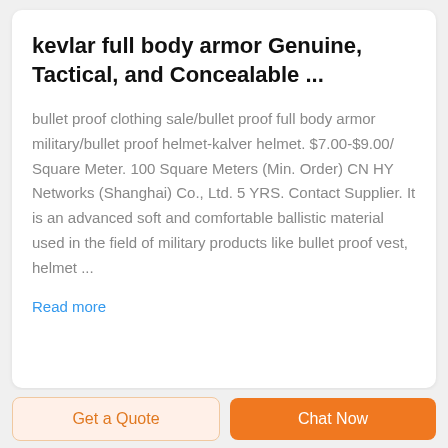kevlar full body armor Genuine, Tactical, and Concealable ...
bullet proof clothing sale/bullet proof full body armor military/bullet proof helmet-kalver helmet. $7.00-$9.00/ Square Meter. 100 Square Meters (Min. Order) CN HY Networks (Shanghai) Co., Ltd. 5 YRS. Contact Supplier. It is an advanced soft and comfortable ballistic material used in the field of military products like bullet proof vest, helmet ...
Read more
Get a Quote
Chat Now